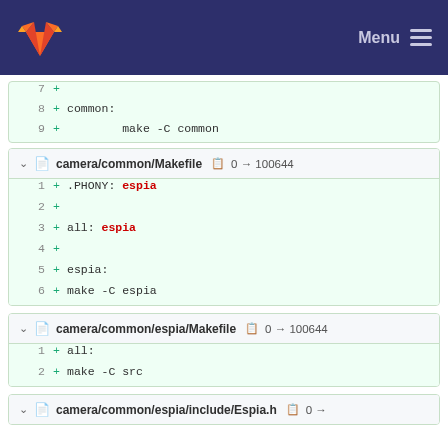Menu
7  +
8  + common:
9  +         make -C common
camera/common/Makefile  0 → 100644
1  + .PHONY: espia
2  +
3  + all:    espia
4  +
5  + espia:
6  +         make -C espia
camera/common/espia/Makefile  0 → 100644
1  + all:
2  +         make -C src
camera/common/espia/include/Espia.h  0 →